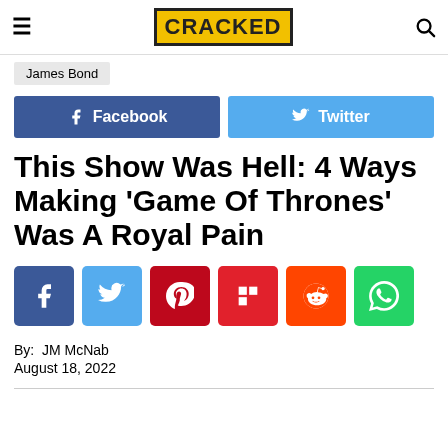CRACKED
James Bond
[Figure (screenshot): Facebook and Twitter social share buttons]
This Show Was Hell: 4 Ways Making ‘Game Of Thrones’ Was A Royal Pain
[Figure (screenshot): Social media share icons: Facebook, Twitter, Pinterest, Flipboard, Reddit, WhatsApp]
By: JM McNab
August 18, 2022